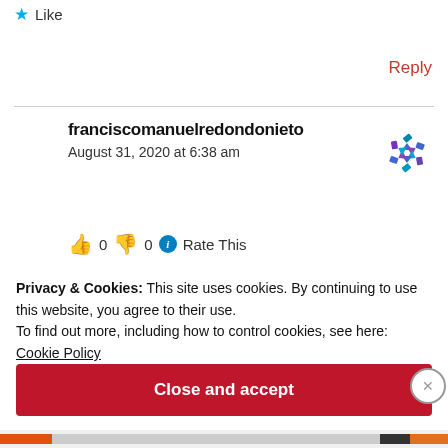★ Like
Reply
franciscomanuelredondonieto
August 31, 2020 at 6:38 am
[Figure (illustration): Pinwheel/spinner avatar icon in blue/purple colors]
👍 0 👎 0 ℹ Rate This
Privacy & Cookies: This site uses cookies. By continuing to use this website, you agree to their use.
To find out more, including how to control cookies, see here:
Cookie Policy
Close and accept